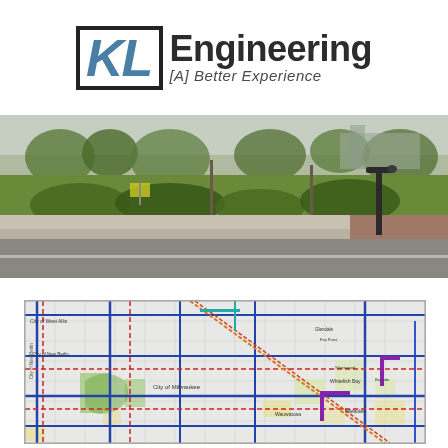[Figure (logo): KL Engineering logo with blue KL letters in a bordered box and 'Engineering [A] Better Experience' text to the right]
[Figure (photo): Street-level photograph showing a roadway with green grass median, landscaping/shrubs, a lamp post, trees, and a building in the background]
[Figure (map): City transportation/bicycle network map showing streets, routes, and paths in the City of Milwaukee and surrounding areas including City of West Allis and City of New Berlin, with colored route lines overlaid on street grid]